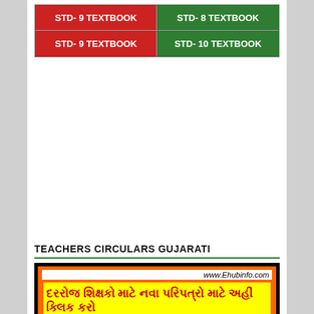[Figure (other): Two-row grid of colored textbook buttons: top row has STD-9 TEXTBOOK (red) and STD-8 TEXTBOOK (green, partially visible), bottom row has STD-9 TEXTBOOK (red) and STD-10 TEXTBOOK (green)]
TEACHERS CIRCULARS GUJARATI
[Figure (infographic): Banner with black outer border, orange inner border, white strip showing www.Ehubinfo.com, and yellow banner with Gujarati text in red: દરરોજ શિક્ષકો માટે નવા પરિપત્રો માટે અહીં ક્લિક કરો]